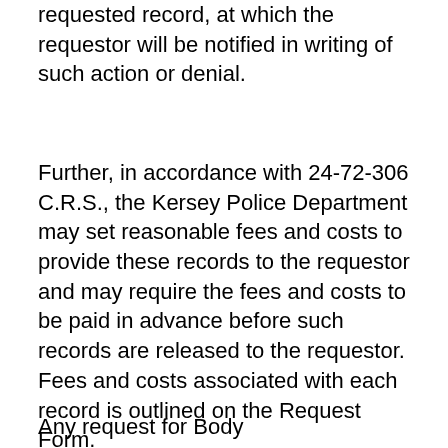requested record, at which the requestor will be notified in writing of such action or denial.
Further, in accordance with 24-72-306 C.R.S., the Kersey Police Department may set reasonable fees and costs to provide these records to the requestor and may require the fees and costs to be paid in advance before such records are released to the requestor. Fees and costs associated with each record is outlined on the Request Form.
Any request for Body